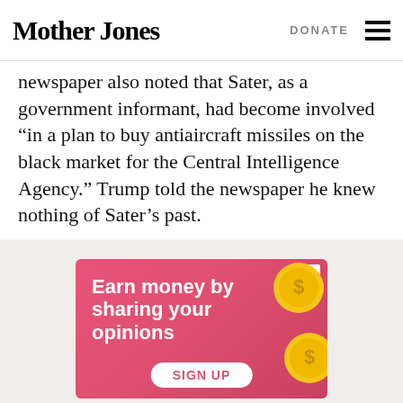Mother Jones | DONATE
newspaper also noted that Sater, as a government informant, had become involved “in a plan to buy antiaircraft missiles on the black market for the Central Intelligence Agency.” Trump told the newspaper he knew nothing of Sater’s past.
[Figure (infographic): Advertisement banner with pink/red gradient background, coins, and text: 'Earn money by sharing your opinions' with a SIGN UP button]